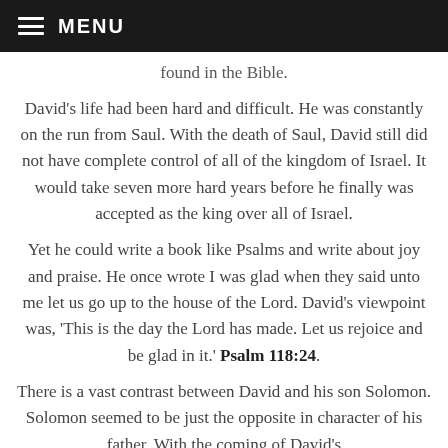MENU
found in the Bible.
David's life had been hard and difficult. He was constantly on the run from Saul. With the death of Saul, David still did not have complete control of all of the kingdom of Israel. It would take seven more hard years before he finally was accepted as the king over all of Israel.
Yet he could write a book like Psalms and write about joy and praise. He once wrote I was glad when they said unto me let us go up to the house of the Lord. David's viewpoint was, 'This is the day the Lord has made. Let us rejoice and be glad in it.' Psalm 118:24.
There is a vast contrast between David and his son Solomon. Solomon seemed to be just the opposite in character of his father. With the coming of David's